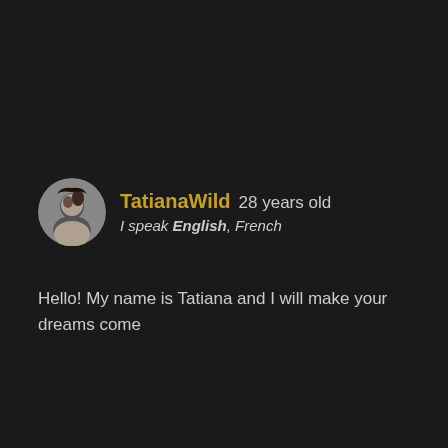[Figure (photo): Circular avatar photo of a young woman with dark hair, against a gray background]
TatianaWild 28 years old
I speak English, French
Hello! My name is Tatiana and I will make your dreams come